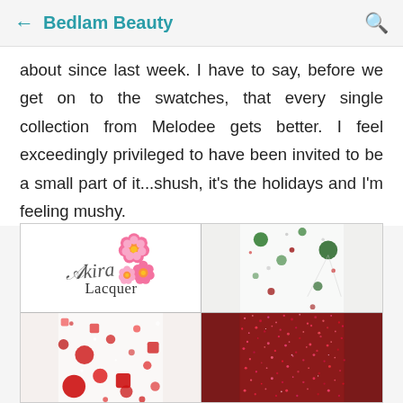Bedlam Beauty
about since last week. I have to say, before we get on to the swatches, that every single collection from Melodee gets better. I feel exceedingly privileged to have been invited to be a small part of it...shush, it's the holidays and I'm feeling mushy.
[Figure (photo): Four-panel image collage: top-left is Akira Lacquer logo (white background with pink flowers and script/serif text), top-right shows white nail polish with green and red dot glitter, bottom-left shows white nail polish with red circular glitter pieces of various sizes, bottom-right shows dense red/pink holographic fine glitter.]